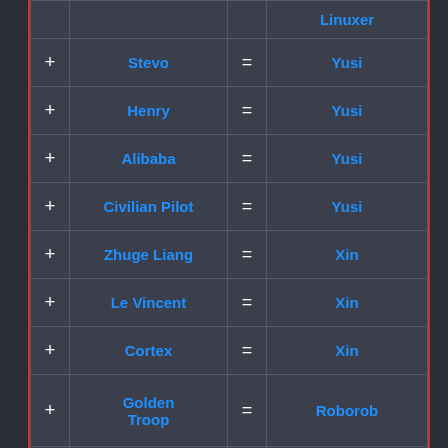|  | Name |  | Result |
| --- | --- | --- | --- |
|  |  |  | Linuxer |
| + | Stevo | = | Yusi |
| + | Henry | = | Yusi |
| + | Alibaba | = | Yusi |
| + | Civilian Pilot | = | Yusi |
| + | Zhuge Liang | = | Xin |
| + | Le Vincent | = | Xin |
| + | Cortex | = | Xin |
| + | Golden Troop | = | Roborob |
| + | Mr Cray | = | Thomas |
| + | Giant Slime | = | Guan Yu |